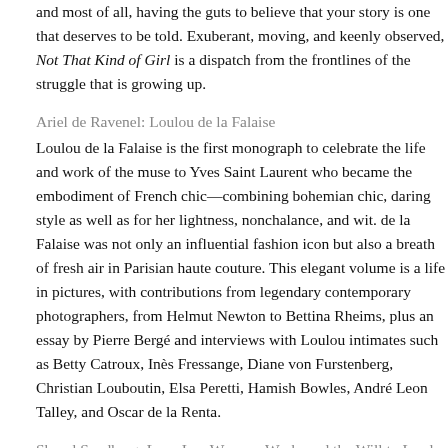and most of all, having the guts to believe that your story is one that deserves to be told. Exuberant, moving, and keenly observed, Not That Kind of Girl is a dispatch from the frontlines of the struggle that is growing up.
Ariel de Ravenel: Loulou de la Falaise
Loulou de la Falaise is the first monograph to celebrate the life and work of the muse to Yves Saint Laurent who became the embodiment of French chic—combining bohemian chic, daring style as well as for her lightness, nonchalance, and wit. de la Falaise was not only an influential fashion icon but also a breath of fresh air in Parisian haute couture. This elegant volume is a life in pictures, with contributions from legendary contemporary photographers, from Helmut Newton to Bettina Rheims, plus an essay by Pierre Bergé and interviews with Loulou intimates such as Betty Catroux, Inès Fressange, Diane von Furstenberg, Christian Louboutin, Elsa Peretti, Hamish Bowles, André Leon Talley, and Oscar de la Renta.
Sheryl Sandberg: Lean In – Women, Work, and the Will to Lead
Thirty years after women became 50 percent of the college graduates in the United States, men still hold the vast majority of leadership positions in government and in the corporate world. Sheryl Sandberg examines why women's progress in achieving leadership roles has stalled,